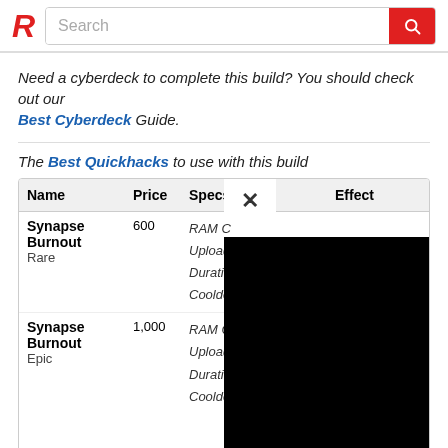R [logo] Search [search bar]
Need a cyberdeck to complete this build? You should check out our Best Cyberdeck Guide.
The Best Quickhacks to use with this build
| Name | Price | Specs | Effect |
| --- | --- | --- | --- |
| Synapse Burnout
Rare | 600 | RAM Cost:
Upload Time:
Duration:
Cooldown: | [obscured by overlay] |
| Synapse Burnout
Epic | 1,000 | RAM Cost: 7
Upload Time: 3
Duration: 2
Cooldown: 10 | If a target is defeated by this quickhack, they burst into flames, causing nearby |